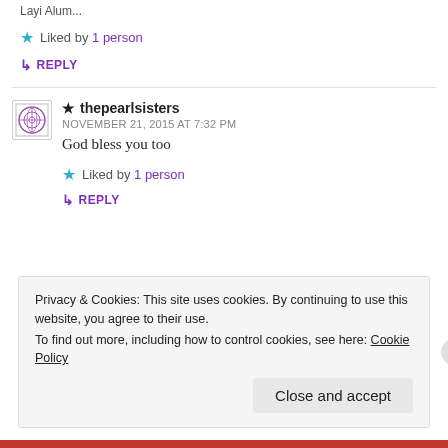Liked by 1 person
↳ REPLY
★ thepearlsisters
NOVEMBER 21, 2015 AT 7:32 PM
God bless you too
Liked by 1 person
↳ REPLY
Privacy & Cookies: This site uses cookies. By continuing to use this website, you agree to their use.
To find out more, including how to control cookies, see here: Cookie Policy
Close and accept